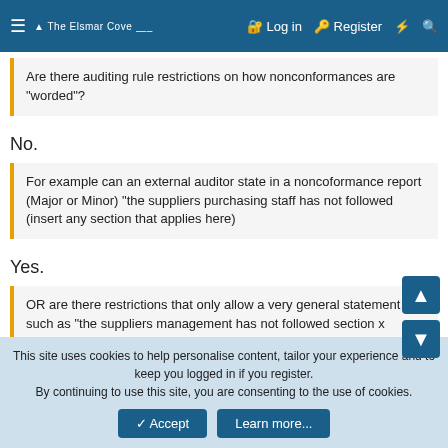≡  The Elsmar Cove  Log in  Register  ⚡  🔍
Are there auditing rule restrictions on how nonconformances are "worded"?
No.
For example can an external auditor state in a noncoformance report (Major or Minor) "the suppliers purchasing staff has not followed (insert any section that applies here)
Yes.
OR are there restrictions that only allow a very general statement such as "the suppliers management has not followed section x paragraph y etc.
The idea is to be as specific as possible. This second 'version' could be used. However, were it me I would choose the first
This site uses cookies to help personalise content, tailor your experience and to keep you logged in if you register.
By continuing to use this site, you are consenting to the use of cookies.